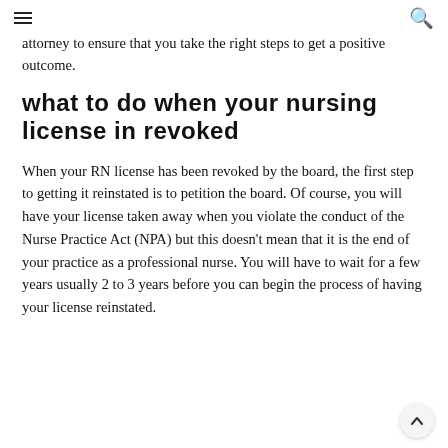≡ [hamburger menu] [search icon]
attorney to ensure that you take the right steps to get a positive outcome.
what to do when your nursing license in revoked
When your RN license has been revoked by the board, the first step to getting it reinstated is to petition the board. Of course, you will have your license taken away when you violate the conduct of the Nurse Practice Act (NPA) but this doesn't mean that it is the end of your practice as a professional nurse. You will have to wait for a few years usually 2 to 3 years before you can begin the process of having your license reinstated.